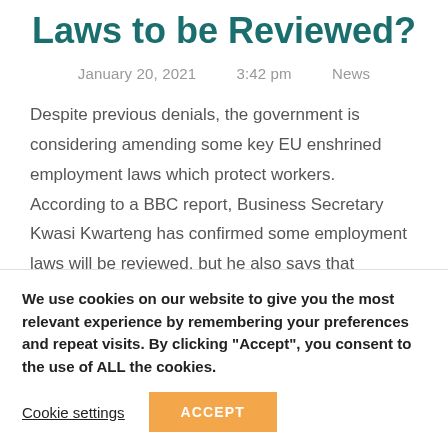Laws to be Reviewed?
January 20, 2021   3:42 pm   News
Despite previous denials, the government is considering amending some key EU enshrined employment laws which protect workers.  According to a BBC report, Business Secretary Kwasi Kwarteng has confirmed some employment laws will be reviewed. but he also says that
We use cookies on our website to give you the most relevant experience by remembering your preferences and repeat visits. By clicking “Accept”, you consent to the use of ALL the cookies.
Cookie settings   ACCEPT